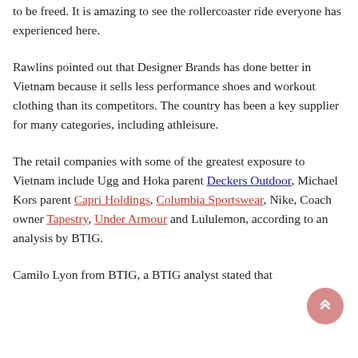to be freed. It is amazing to see the rollercoaster ride everyone has experienced here.
Rawlins pointed out that Designer Brands has done better in Vietnam because it sells less performance shoes and workout clothing than its competitors. The country has been a key supplier for many categories, including athleisure.
The retail companies with some of the greatest exposure to Vietnam include Ugg and Hoka parent Deckers Outdoor, Michael Kors parent Capri Holdings, Columbia Sportswear, Nike, Coach owner Tapestry, Under Armour and Lululemon, according to an analysis by BTIG.
Camilo Lyon from BTIG, a BTIG analyst stated that